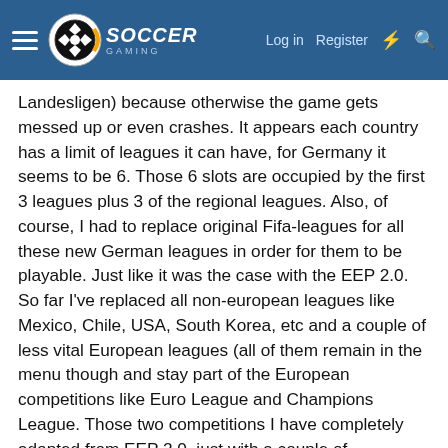Soccer Gaming — Log in | Register
Landesligen) because otherwise the game gets messed up or even crashes. It appears each country has a limit of leagues it can have, for Germany it seems to be 6. Those 6 slots are occupied by the first 3 leagues plus 3 of the regional leagues. Also, of course, I had to replace original Fifa-leagues for all these new German leagues in order for them to be playable. Just like it was the case with the EEP 2.0. So far I've replaced all non-european leagues like Mexico, Chile, USA, South Korea, etc and a couple of less vital European leagues (all of them remain in the menu though and stay part of the European competitions like Euro League and Champions League. Those two competitions I have completely adopted from EEP 2.0, just with a couple of adjustments as far as to how many slots go to what league)
As you can see I really racked my brain about this all to make a workable system. And I'm really proud to say that I
accomplished this! 🙂 My patch does work, at last. 😎 It did take me quite some time to figure it all out and tried many